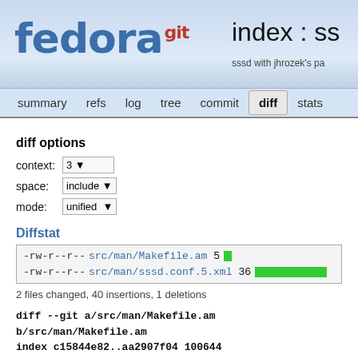[Figure (logo): Fedora git logo with 'fedora' in blue and 'git' in red superscript]
index : ss
sssd with jhrozek's pa
summary  refs  log  tree  commit  diff  stats
diff options
context: 3
space: include
mode: unified
Diffstat
| -rw-r--r-- | src/man/Makefile.am | 5 | [bar] |
| -rw-r--r-- | src/man/sssd.conf.5.xml | 36 | [bar] |
2 files changed, 40 insertions, 1 deletions
diff --git a/src/man/Makefile.am b/src/man/Makefile.am
index c15844e82..aa2907f04 100644
--- a/src/man/Makefile.am